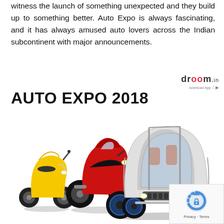witness the launch of something unexpected and they build up to something better. Auto Expo is always fascinating, and it has always amused auto lovers across the Indian subcontinent with major announcements.
[Figure (logo): Droom logo with download app icons]
AUTO EXPO 2018
[Figure (illustration): Yellow scooter, red sport motorcycle, and a futuristic open-top concept car with blue glowing wheels displayed together]
[Figure (logo): reCAPTCHA logo with Privacy and Terms links]